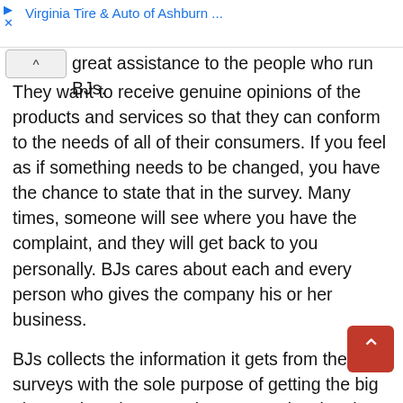Virginia Tire & Auto of Ashburn ...
great assistance to the people who run BJs. They want to receive genuine opinions of the products and services so that they can conform to the needs of all of their consumers. If you feel as if something needs to be changed, you have the chance to state that in the survey. Many times, someone will see where you have the complaint, and they will get back to you personally. BJs cares about each and every person who gives the company his or her business.
BJs collects the information it gets from the surveys with the sole purpose of getting the big picture about how people are experiencing the stores. The answers that you provide are crucial to the comp and they help the higher-ups make decisions about what they will do with various aspects of the